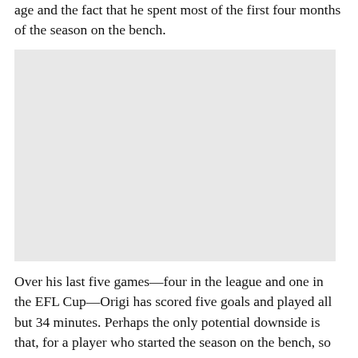age and the fact that he spent most of the first four months of the season on the bench.
[Figure (photo): Photo placeholder (light gray rectangle)]
Over his last five games—four in the league and one in the EFL Cup—Origi has scored five goals and played all but 34 minutes. Perhaps the only potential downside is that, for a player who started the season on the bench, so many minutes in short order means a